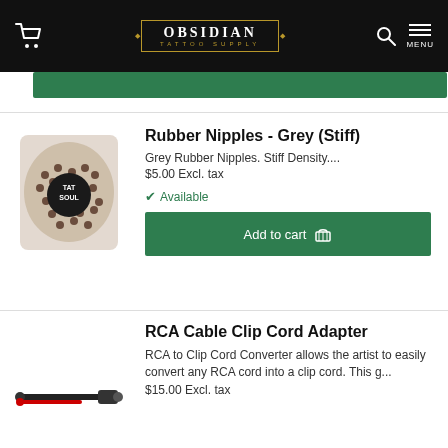Obsidian Tattoo Supply
[Figure (screenshot): Green Add to cart button (top, partially visible)]
Rubber Nipples - Grey (Stiff)
Grey Rubber Nipples. Stiff Density.... $5.00 Excl. tax
Available
[Figure (photo): Bag of grey rubber nipples with Tat Soul label]
Add to cart
RCA Cable Clip Cord Adapter
RCA to Clip Cord Converter allows the artist to easily convert any RCA cord into a clip cord. This g... $15.00 Excl. tax
[Figure (photo): RCA cable clip cord adapter - black and red cable]